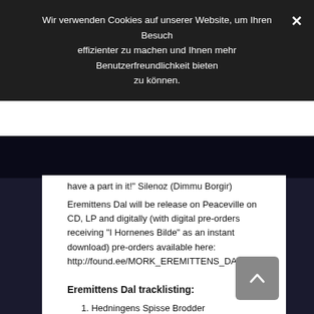Wir verwenden Cookies auf unserer Website, um Ihren Besuch effizienter zu machen und Ihnen mehr Benutzerfreundlichkeit bieten zu können.
have a part in it!" Silenoz (Dimmu Borgir)
Eremittens Dal will be release on Peaceville on CD, LP and digitally (with digital pre-orders receiving "I Hornenes Bilde" as an instant download) pre-orders available here: http://found.ee/MORK_EREMITTENS_DAL
Eremittens Dal tracklisting:
1. Hedningens Spisse Brodder
2. Holdere Av Fortet
3. Forsteinet I Hat
4. Eremittens Dal
5. I Hornenes Bilde
6. Likfølget